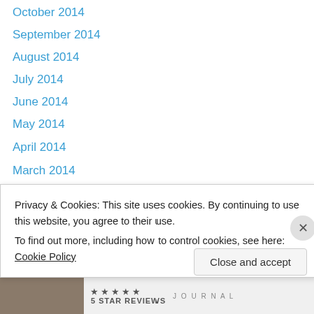October 2014
September 2014
August 2014
July 2014
June 2014
May 2014
April 2014
March 2014
February 2014
January 2014
December 2013
November 2013
October 2013
September 2013
Privacy & Cookies: This site uses cookies. By continuing to use this website, you agree to their use.
To find out more, including how to control cookies, see here: Cookie Policy
Close and accept